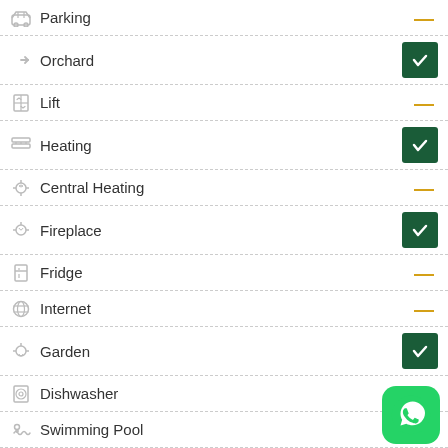Parking
Orchard
Lift
Heating
Central Heating
Fireplace
Fridge
Internet
Garden
Dishwasher
Swimming Pool